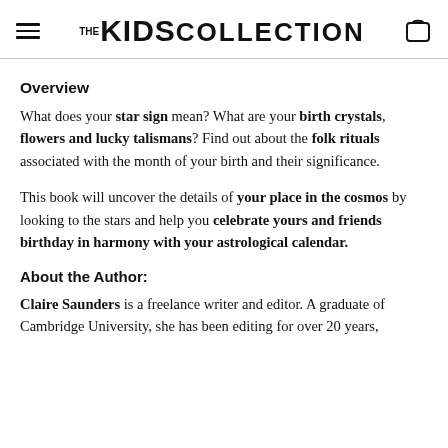THE KIDS COLLECTION
Overview
What does your star sign mean? What are your birth crystals, flowers and lucky talismans? Find out about the folk rituals associated with the month of your birth and their significance.
This book will uncover the details of your place in the cosmos by looking to the stars and help you celebrate yours and friends birthday in harmony with your astrological calendar.
About the Author:
Claire Saunders is a freelance writer and editor. A graduate of Cambridge University, she has been editing for over 20 years,